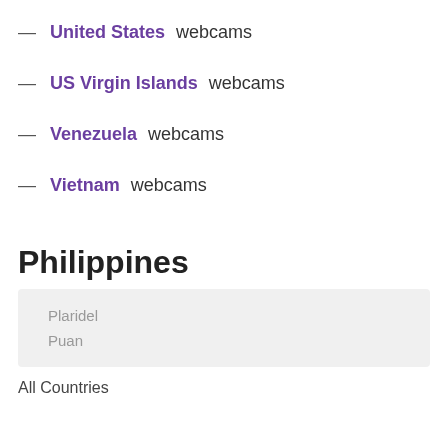— United States webcams
— US Virgin Islands webcams
— Venezuela webcams
— Vietnam webcams
Philippines
Plaridel
Puan
All Countries